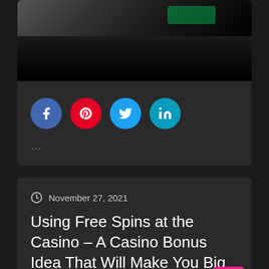[Figure (screenshot): Dark screenshot image showing a casino scene with green accents, partially visible at top]
[Figure (infographic): Social media share icons: Facebook (blue), Pinterest (red), Twitter (light blue), LinkedIn (teal)]
...
November 27, 2021
Using Free Spins at the Casino – A Casino Bonus Idea That Will Make You Big Money